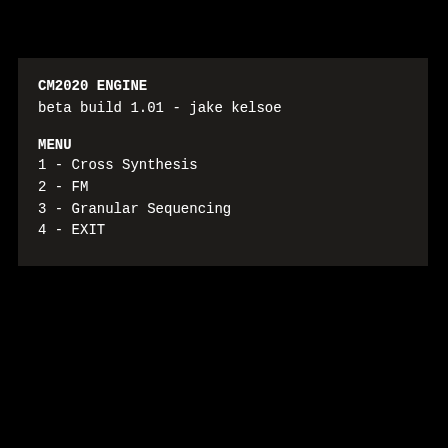CM2020 ENGINE
beta build 1.01 - jake kelsoe
MENU
1 - Cross Synthesis
2 - FM
3 - Granular Sequencing
4 - EXIT